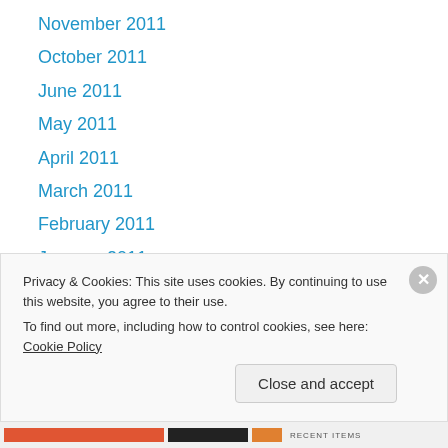November 2011
October 2011
June 2011
May 2011
April 2011
March 2011
February 2011
January 2011
October 2010
September 2010
July 2010
June 2010
May 2010
Privacy & Cookies: This site uses cookies. By continuing to use this website, you agree to their use. To find out more, including how to control cookies, see here: Cookie Policy
Close and accept